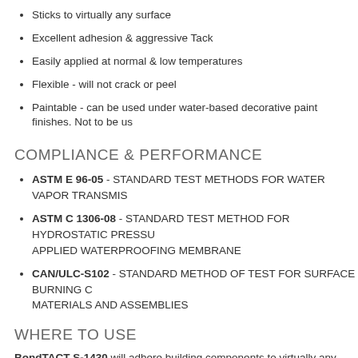Sticks to virtually any surface
Excellent adhesion & aggressive Tack
Easily applied at normal & low temperatures
Flexible - will not crack or peel
Paintable - can be used under water-based decorative paint finishes. Not to be us
COMPLIANCE & PERFORMANCE
ASTM E 96-05 - STANDARD TEST METHODS FOR WATER VAPOR TRANSMIS
ASTM C 1306-08 - STANDARD TEST METHOD FOR HYDROSTATIC PRESSURE APPLIED WATERPROOFING MEMBRANE
CAN/ULC-S102 - STANDARD METHOD OF TEST FOR SURFACE BURNING C MATERIALS AND ASSEMBLIES
WHERE TO USE
BondTACT S-1430 will adhere building components to virtually any surface, including m provides a protective, waterproof barrier. Use S-1430 on exterior and interior concret protect from moisture and water infiltration where exterior application is not read at time of application. BondTAC must penetrate a dry, porous surface in order to p infiltration.